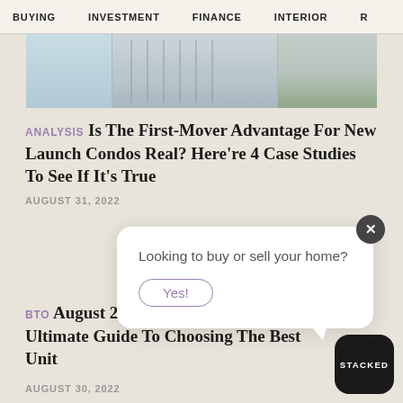BUYING  INVESTMENT  FINANCE  INTERIOR  R
[Figure (photo): Hero image strip showing high-rise condominium buildings, blue-grey tones with greenery on right side]
ANALYSIS Is The First-Mover Advantage For New Launch Condos Real? Here're 4 Case Studies To See If It's True
AUGUST 31, 2022
Looking to buy or sell your home?
Yes!
BTO August 2022 BTO Launch Review: Ultimate Guide To Choosing The Best Unit
AUGUST 30, 2022